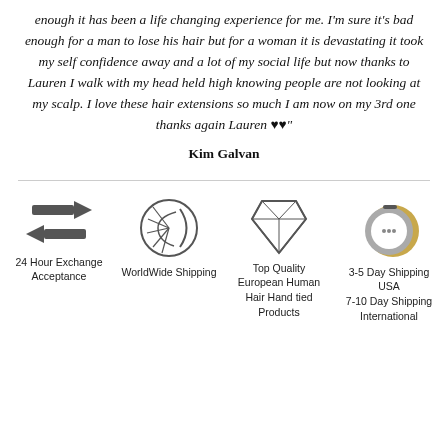enough it has been a life changing experience for me. I'm sure it's bad enough for a man to lose his hair but for a woman it is devastating it took my self confidence away and a lot of my social life but now thanks to Lauren I walk with my head held high knowing people are not looking at my scalp. I love these hair extensions so much I am now on my 3rd one thanks again Lauren ♥♥"
Kim Galvan
[Figure (infographic): Four icons in a row: arrows for 24 Hour Exchange Acceptance, circular logo for WorldWide Shipping, diamond for Top Quality European Human Hair Hand tied Products, circular badge for 3-5 Day Shipping USA / 7-10 Day Shipping International]